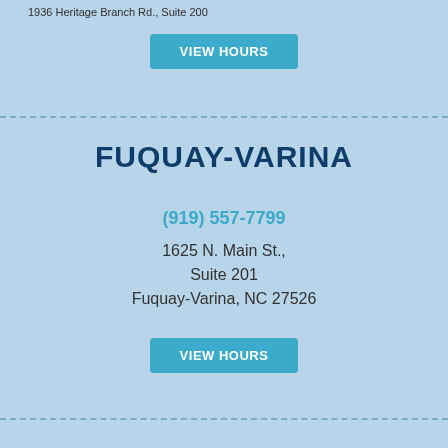1936 Heritage Branch Rd., Suite 200
VIEW HOURS
FUQUAY-VARINA
(919) 557-7799
1625 N. Main St.,
Suite 201
Fuquay-Varina, NC 27526
VIEW HOURS